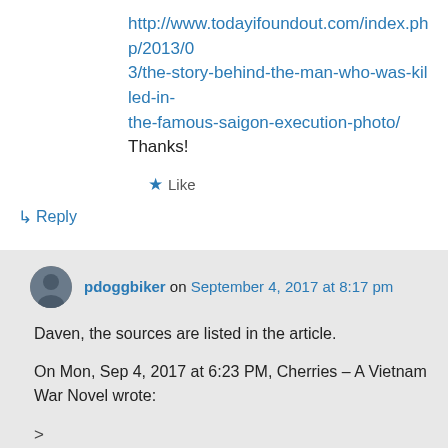http://www.todayifoundout.com/index.php/2013/03/the-story-behind-the-man-who-was-killed-in-the-famous-saigon-execution-photo/ Thanks!
★ Like
↳ Reply
pdoggbiker on September 4, 2017 at 8:17 pm
Daven, the sources are listed in the article.
On Mon, Sep 4, 2017 at 6:23 PM, Cherries – A Vietnam War Novel wrote:
>
★ Like